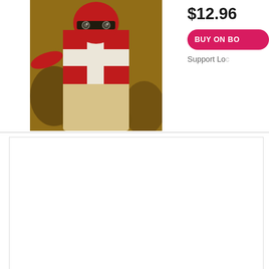[Figure (photo): Book cover image showing a figure in red and white costume/clothing in a dramatic outdoor scene with warm yellow-brown tones]
$12.96
BUY ON BO
Support Lo